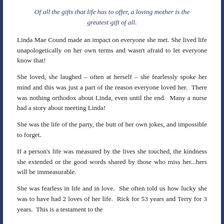Of all the gifts that life has to offer, a loving mother is the greatest gift of all.
Linda Mae Cound made an impact on everyone she met. She lived life unapologetically on her own terms and wasn't afraid to let everyone know that!
She loved, she laughed – often at herself – she fearlessly spoke her mind and this was just a part of the reason everyone loved her.  There was nothing orthodox about Linda, even until the end.  Many a nurse had a story about meeting Linda!
She was the life of the party, the butt of her own jokes, and impossible to forget.
If a person's life was measured by the lives she touched, the kindness she extended or the good words shared by those who miss her...hers will be immeasurable.
She was fearless in life and in love.  She often told us how lucky she was to have had 2 loves of her life.  Rick for 53 years and Terry for 3 years.  This is a testament to the